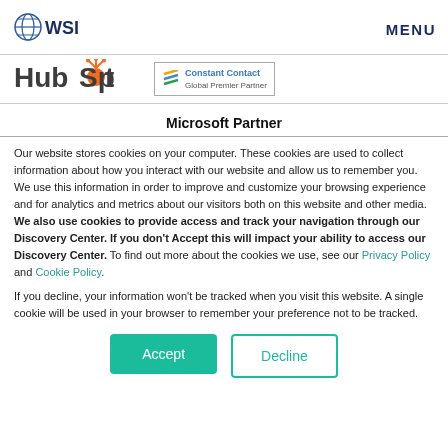[Figure (logo): WSI globe logo with text WSI]
MENU
[Figure (logo): HubSpot logo with orange hub icon]
[Figure (logo): Constant Contact Global Premier Partner badge]
Microsoft Partner
Our website stores cookies on your computer. These cookies are used to collect information about how you interact with our website and allow us to remember you. We use this information in order to improve and customize your browsing experience and for analytics and metrics about our visitors both on this website and other media. We also use cookies to provide access and track your navigation through our Discovery Center. If you don't Accept this will impact your ability to access our Discovery Center. To find out more about the cookies we use, see our Privacy Policy and Cookie Policy.
If you decline, your information won't be tracked when you visit this website. A single cookie will be used in your browser to remember your preference not to be tracked.
Accept
Decline